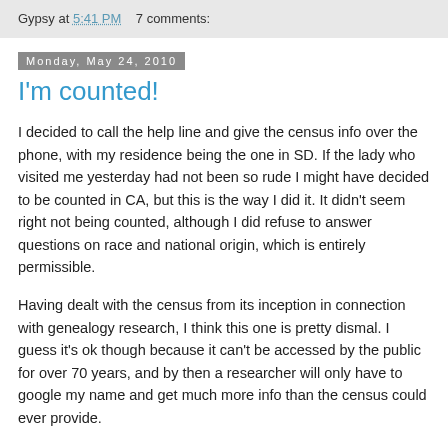Gypsy at 5:41 PM    7 comments:
Monday, May 24, 2010
I'm counted!
I decided to call the help line and give the census info over the phone, with my residence being the one in SD. If the lady who visited me yesterday had not been so rude I might have decided to be counted in CA, but this is the way I did it. It didn't seem right not being counted, although I did refuse to answer questions on race and national origin, which is entirely permissible.
Having dealt with the census from its inception in connection with genealogy research, I think this one is pretty dismal. I guess it's ok though because it can't be accessed by the public for over 70 years, and by then a researcher will only have to google my name and get much more info than the census could ever provide.
Late yesterday afternoon my bird feeder was visited for the